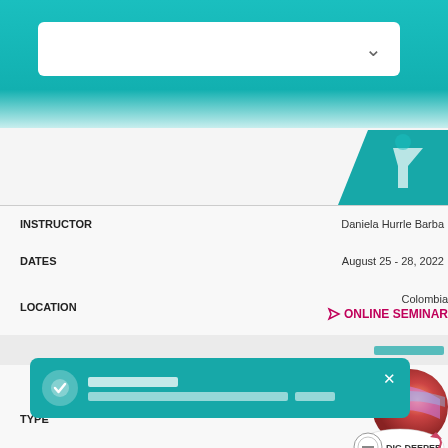[Figure (screenshot): Teal header bar with white dropdown/search box with chevron]
[Figure (screenshot): Teal logo/funnel graphic at top right of content area]
| Field | Value |
| --- | --- |
| INSTRUCTOR | Daniela Hurrle Barba |
| DATES | August 25 - 28, 2022 |
| LOCATION | Colombia [ONLINE SEMINAR badge] |
|  | [gray row with Thai-script buttons] |
| TYPE | [DIG DEEPER badge image] |
| INSTRUCTOR | Lucie Rimona |
| DATES | August 25 - 27, 2022 |
| LOCATION | blic [ONLINE SEMINAR badge] |
[Figure (screenshot): DIG DEEPER badge with planet image]
[Figure (screenshot): Toast notification overlay with teal background, checkmark icon, Thai text, and close button]